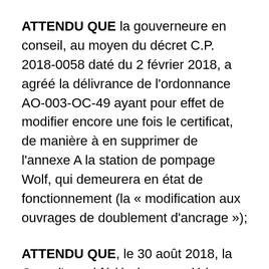ATTENDU QUE la gouverneure en conseil, au moyen du décret C.P. 2018-0058 daté du 2 février 2018, a agréé la délivrance de l'ordonnance AO-003-OC-49 ayant pour effet de modifier encore une fois le certificat, de manière à en supprimer de l'annexe A la station de pompage Wolf, qui demeurera en état de fonctionnement (la « modification aux ouvrages de doublement d'ancrage »);
ATTENDU QUE, le 30 août 2018, la Cour d'appel fédérale a annulé le décret C.P. 2016-1069 et a renvoyé l'approbation du projet à la